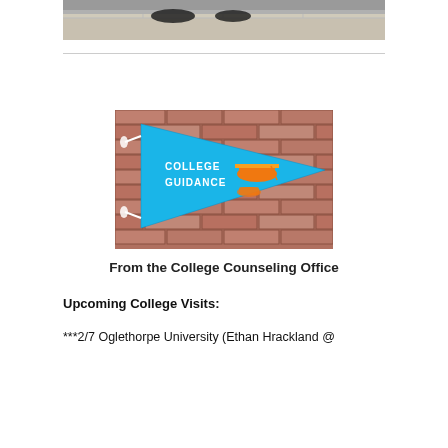[Figure (photo): Top portion of a photo showing a person's feet and a metal surface, likely a kitchen or cafeteria setting.]
[Figure (photo): A blue pennant flag hung on a brick wall reading 'COLLEGE GUIDANCE' with an orange graduation cap and diploma mascot illustration.]
From the College Counseling Office
Upcoming College Visits:
***2/7 Oglethorpe University (Ethan Hrackland @